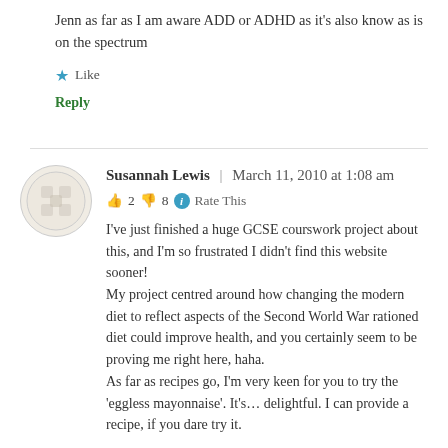Jenn as far as I am aware ADD or ADHD as it's also know as is on the spectrum
★ Like
Reply
Susannah Lewis | March 11, 2010 at 1:08 am
👍 2 👎 8 ℹ Rate This
I've just finished a huge GCSE courswork project about this, and I'm so frustrated I didn't find this website sooner!
My project centred around how changing the modern diet to reflect aspects of the Second World War rationed diet could improve health, and you certainly seem to be proving me right here, haha.
As far as recipes go, I'm very keen for you to try the 'eggless mayonnaise'. It's… delightful. I can provide a recipe, if you dare try it.